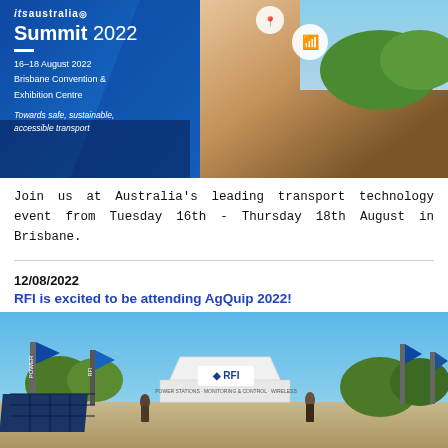[Figure (photo): ITS Australia Summit 2022 promotional banner showing event details: 16-18 August 2022, Brisbane Convention & Exhibition Centre, with theme 'Towards safe, sustainable, accessible transport'. Features a woman on an e-scooter and city transport imagery.]
Join us at Australia's leading transport technology event from Tuesday 16th - Thursday 18th August in Brisbane.
12/08/2022
RFI is excited to be attending AgQuip 2022!
[Figure (photo): Outdoor photo of RFI exhibition booth at AgQuip 2022, showing white marquee tent with RFI logo, blue branded flags including Power brand, and solar panels on display ground.]